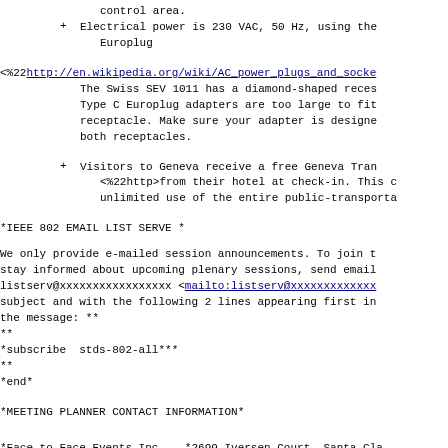control area.
+ Electrical power is 230 VAC, 50 Hz, using the Europlug
<%22http://en.wikipedia.org/wiki/AC_power_plugs_and_sockets The Swiss SEV 1011 has a diamond-shaped recess. Type C Europlug adapters are too large to fit receptacle. Make sure your adapter is designed both receptacles.
+ Visitors to Geneva receive a free Geneva Tran <%22http>from their hotel at check-in. This c unlimited use of the entire public-transporta
*IEEE 802 EMAIL LIST SERVE *
We only provide e-mailed session announcements. To join t stay informed about upcoming plenary sessions, send email listserv@xxxxxxxxxxxxxxxxx <mailto:listserv@xxxxxxxxxxxxx subject and with the following 2 lines appearing first in the message: **
**
*subscribe  stds-802-all***
**
*end*
*MEETING PLANNER CONTACT INFORMATION*
*Face to Face Events Inc.,  *2699 Iversen Court, Santa Cla